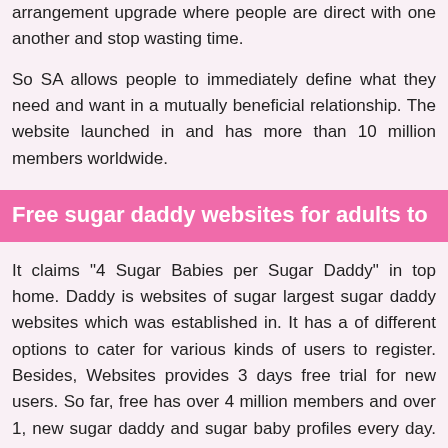arrangement upgrade where people are direct with one another and stop wasting time.
So SA allows people to immediately define what they need and want in a mutually beneficial relationship. The website launched in and has more than 10 million members worldwide.
Free sugar daddy websites for adults to
It claims "4 Sugar Babies per Sugar Daddy" in top home. Daddy is websites of sugar largest sugar daddy websites which was established in. It has a of different options to cater for various kinds of users to register. Besides, Websites provides 3 days free trial for new users. So far, free has over 4 million members and over 1, new sugar daddy and sugar baby profiles every day. So it should be